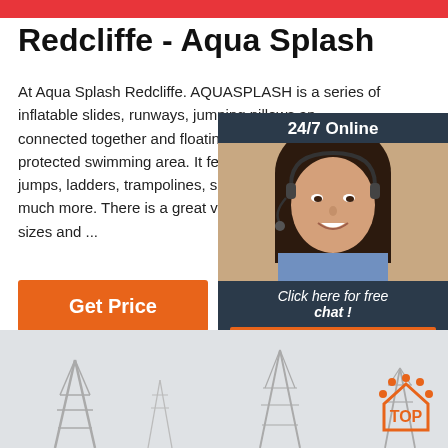Redcliffe - Aqua Splash
At Aqua Splash Redcliffe. AQUASPLASH is a series of inflatable slides, runways, jumping pillows and ... connected together and floating in a large, cl... protected swimming area. It features swings, jumps, ladders, trampolines, slides, wiggle b... much more. There is a great variety of differe... sizes and ...
Get Price
[Figure (photo): 24/7 Online chat widget showing a female customer service agent wearing a headset, with 'Click here for free chat!' text and a QUOTATION button]
[Figure (photo): Bottom banner showing electrical transmission towers/pylons in a hazy landscape with a TOP logo in the bottom right]